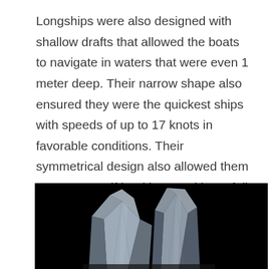Longships were also designed with shallow drafts that allowed the boats to navigate in waters that were even 1 meter deep. Their narrow shape also ensured they were the quickest ships with speeds of up to 17 knots in favorable conditions. Their symmetrical design also allowed them to reverse swiftly without making a full turn around, hence they were double-ended ships. Lastly, longships made use of both rowing and wind propulsion. The ship had rowing positions along its length and additional sails made of wool.
[Figure (photo): Close-up photograph of two crystal or mineral specimens (likely quartz or calcite points) against a black background, showing translucent blue-grey faceted crystal points.]